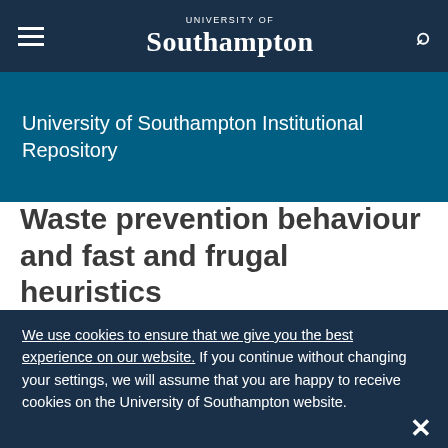University of Southampton — navigation bar with hamburger menu, logo, and search icon
University of Southampton Institutional Repository
Waste prevention behaviour and fast and frugal heuristics
We use cookies to ensure that we give you the best experience on our website. If you continue without changing your settings, we will assume that you are happy to receive cookies on the University of Southampton website.